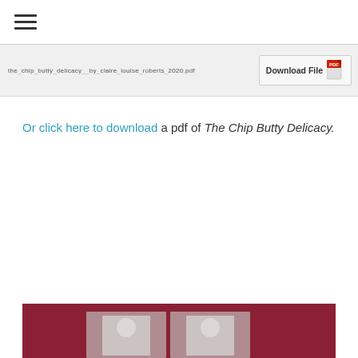≡
[Figure (screenshot): Download file banner showing filename 'the_chip_butty_delicacy__by_claire_louise_roberts_2020.pdf' and a Download File button with PDF icon]
Or click here to download a pdf of The Chip Butty Delicacy.
[Figure (photo): Bottom portion of page showing a dark red/maroon background with partial view of photographs at the bottom edge]